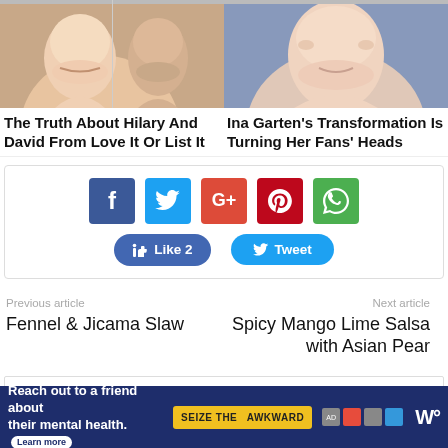[Figure (photo): Two side-by-side cropped face photos at the top - left shows two people (Hilary and David), right shows Ina Garten]
The Truth About Hilary And David From Love It Or List It
Ina Garten's Transformation Is Turning Her Fans' Heads
[Figure (infographic): Social share widget with Facebook, Twitter, Google+, Pinterest, WhatsApp icons and Like 2 and Tweet buttons]
Previous article
Fennel & Jicama Slaw
Next article
Spicy Mango Lime Salsa with Asian Pear
[Figure (screenshot): Advertisement bar at bottom: Reach out to a friend about their mental health. Seize The Awkward ad with logos]